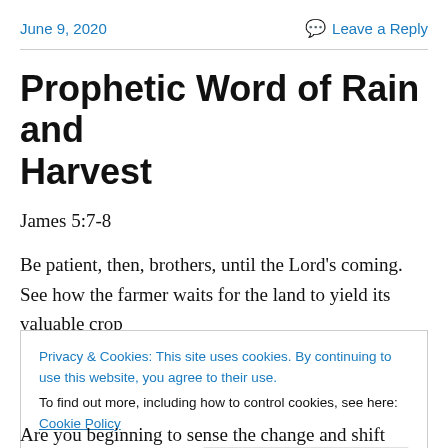June 9, 2020    Leave a Reply
Prophetic Word of Rain and Harvest
James 5:7-8
Be patient, then, brothers, until the Lord's coming. See how the farmer waits for the land to yield its valuable crop
Privacy & Cookies: This site uses cookies. By continuing to use this website, you agree to their use.
To find out more, including how to control cookies, see here: Cookie Policy
Close and accept
Are you beginning to sense the change and shift